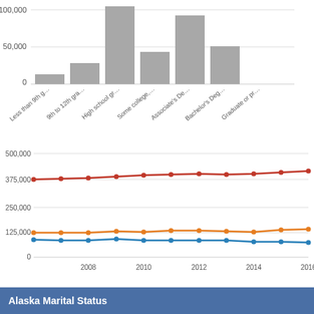[Figure (bar-chart): Alaska Education Attainment (bar chart)]
[Figure (line-chart): Alaska Population Trends by Category]
Alaska Marital Status